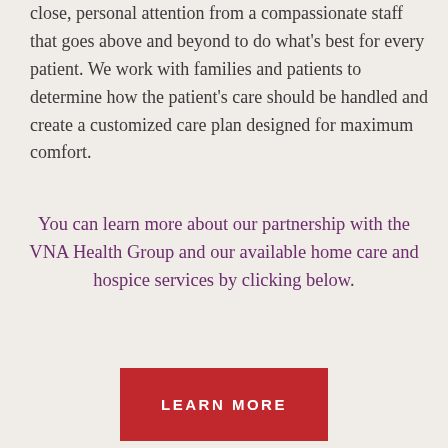close, personal attention from a compassionate staff that goes above and beyond to do what's best for every patient. We work with families and patients to determine how the patient's care should be handled and create a customized care plan designed for maximum comfort.
You can learn more about our partnership with the VNA Health Group and our available home care and hospice services by clicking below.
LEARN MORE